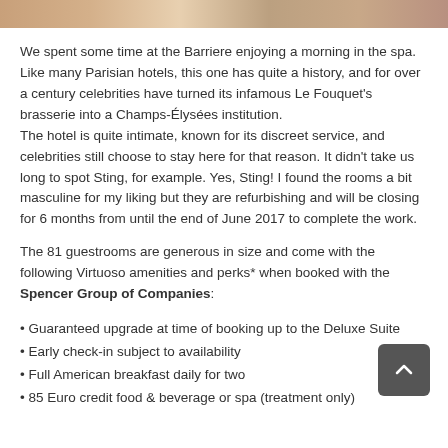[Figure (photo): Decorative image strip at top of page showing hotel or spa imagery]
We spent some time at the Barriere enjoying a morning in the spa. Like many Parisian hotels, this one has quite a history, and for over a century celebrities have turned its infamous Le Fouquet's brasserie into a Champs-Élysées institution.
The hotel is quite intimate, known for its discreet service, and celebrities still choose to stay here for that reason. It didn't take us long to spot Sting, for example. Yes, Sting! I found the rooms a bit masculine for my liking but they are refurbishing and will be closing for 6 months from until the end of June 2017 to complete the work.
The 81 guestrooms are generous in size and come with the following Virtuoso amenities and perks* when booked with the Spencer Group of Companies:
Guaranteed upgrade at time of booking up to the Deluxe Suite
Early check-in subject to availability
Full American breakfast daily for two
85 Euro credit food & beverage or spa (treatment only)